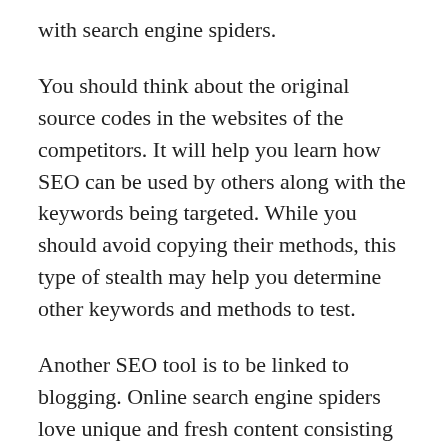with search engine spiders.
You should think about the original source codes in the websites of the competitors. It will help you learn how SEO can be used by others along with the keywords being targeted. While you should avoid copying their methods, this type of stealth may help you determine other keywords and methods to test.
Another SEO tool is to be linked to blogging. Online search engine spiders love unique and fresh content consisting of easily followed navigation, and a blog offers all of that. Search engines like yahoo will reply to backlinks by bringing more visitors.